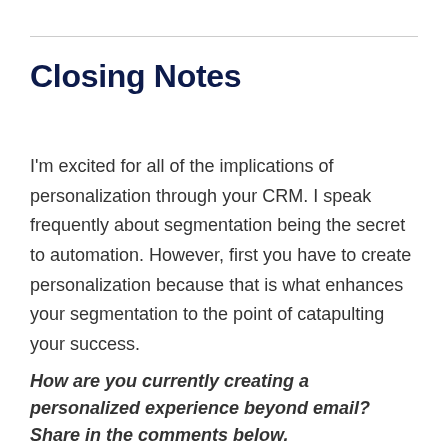Closing Notes
I'm excited for all of the implications of personalization through your CRM. I speak frequently about segmentation being the secret to automation. However, first you have to create personalization because that is what enhances your segmentation to the point of catapulting your success.
How are you currently creating a personalized experience beyond email? Share in the comments below.